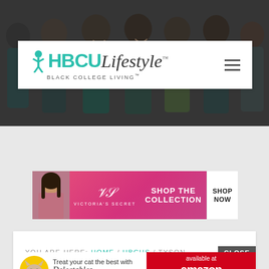[Figure (photo): Hero background photo of smiling young people (diverse group) with dark overlay, used as website banner background]
[Figure (logo): HBCU Lifestyle - Black College Living logo with teal figure icon, HBCU in teal bold text, Lifestyle in serif italic, tagline BLACK COLLEGE LIVING TM]
[Figure (other): Hamburger menu icon (three horizontal lines) on the right side of the navigation bar]
[Figure (other): Victoria's Secret advertisement banner: model photo on left, VS logo and brand name in center, SHOP THE COLLECTION text, SHOP NOW button on right, pink/magenta gradient background]
YOU ARE HERE: HOME / HBCUS / TYSON
[Figure (other): CLOSE button in dark gray]
[Figure (other): Delectables cat treats advertisement: Treat your cat the best with Delectables cat treats, available at amazon, with cat image and yellow circle graphic]